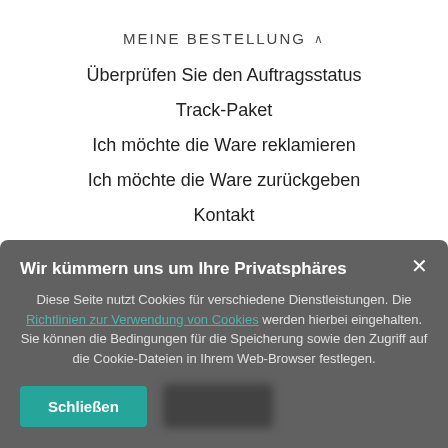MEINE BESTELLUNG ^
Überprüfen Sie den Auftragsstatus
Track-Paket
Ich möchte die Ware reklamieren
Ich möchte die Ware zurückgeben
Kontakt
Wir kümmern uns um Ihre Privatsphäres
Diese Seite nutzt Cookies für verschiedene Dienstleistungen. Die Richtlinien zur Verwendung von Cookies werden hierbei eingehalten. Sie können die Bedingungen für die Speicherung sowie den Zugriff auf die Cookie-Dateien in Ihrem Web-Browser festlegen.
Schließen